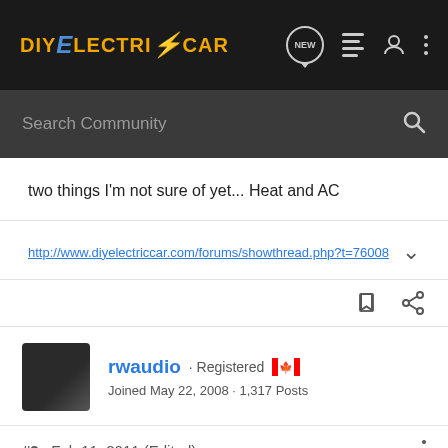DIYELECTRiCCAR
two things I'm not sure of yet... Heat and AC
http://www.diyelectriccar.com/forums/showthread.php?t=76008
rwaudio · Registered 🇨🇦
Joined May 22, 2008 · 1,317 Posts
#2 · Feb 11, 2011 (Edited)
Nomad said:
Now I need some updating as to what is new in the EV world.